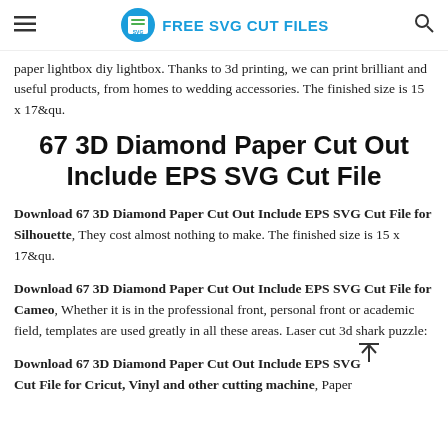FREE SVG CUT FILES
paper lightbox diy lightbox. Thanks to 3d printing, we can print brilliant and useful products, from homes to wedding accessories. The finished size is 15 x 17&qu.
67 3D Diamond Paper Cut Out Include EPS SVG Cut File
Download 67 3D Diamond Paper Cut Out Include EPS SVG Cut File for Silhouette, They cost almost nothing to make. The finished size is 15 x 17&qu.
Download 67 3D Diamond Paper Cut Out Include EPS SVG Cut File for Cameo, Whether it is in the professional front, personal front or academic field, templates are used greatly in all these areas. Laser cut 3d shark puzzle:
Download 67 3D Diamond Paper Cut Out Include EPS SVG Cut File for Cricut, Vinyl and other cutting machine, Paper